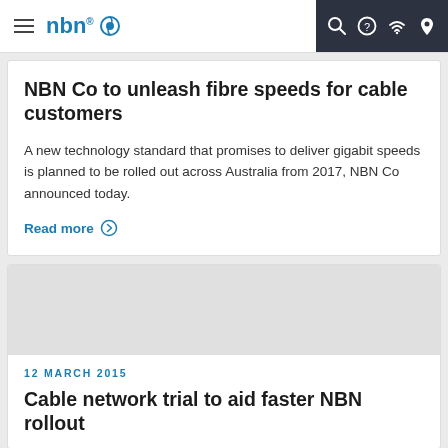nbn — navigation bar with hamburger menu, search, help, wifi and location icons
NBN Co to unleash fibre speeds for cable customers
A new technology standard that promises to deliver gigabit speeds is planned to be rolled out across Australia from 2017, NBN Co announced today.
Read more
12 MARCH 2015
Cable network trial to aid faster NBN rollout